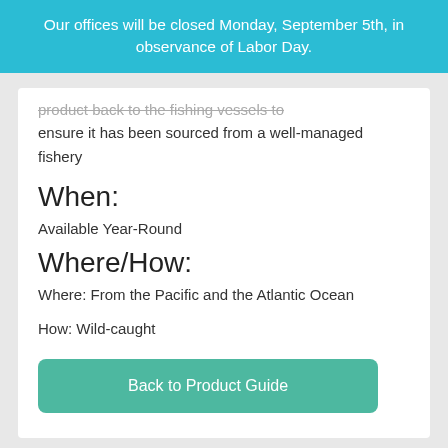Our offices will be closed Monday, September 5th, in observance of Labor Day.
product back to the fishing vessels to ensure it has been sourced from a well-managed fishery
When:
Available Year-Round
Where/How:
Where: From the Pacific and the Atlantic Ocean
How: Wild-caught
Back to Product Guide